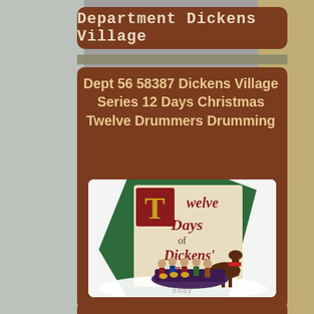Department Dickens Village
Dept 56 58387 Dickens Village Series 12 Days Christmas Twelve Drummers Drumming
[Figure (photo): Product photo of Dept 56 Dickens Village Twelve Drummers Drumming figurine set, showing drummer figures on a sleigh with horses in front of a large banner reading 'Twelve Days of Dickens Village'. eBay watermark visible at bottom.]